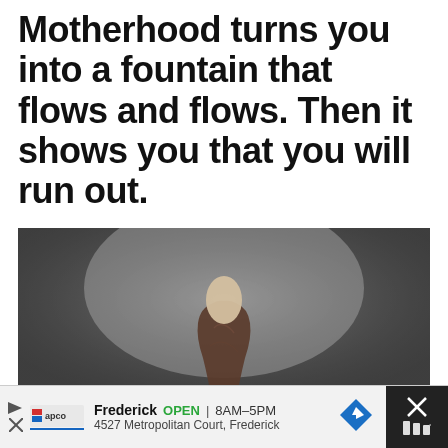Motherhood turns you into a fountain that flows and flows. Then it shows you that you will run out.
[Figure (photo): A sculptural or photographic image of an abstract humanoid figure against a gray gradient background, cropped at the bottom.]
Frederick  OPEN  8AM–5PM  4527 Metropolitan Court, Frederick